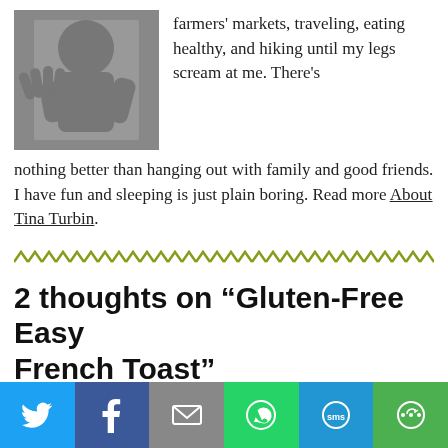[Figure (photo): Black and white photo of a young child or baby]
farmers' markets, traveling, eating healthy, and hiking until my legs scream at me. There's nothing better than hanging out with family and good friends. I have fun and sleeping is just plain boring. Read more About Tina Turbin.
[Figure (illustration): Decorative zigzag/chevron divider line in olive/yellow-green color]
2 thoughts on “Gluten-Free Easy French Toast”
Rowan says: June 14, 2010 at 5:55 pm